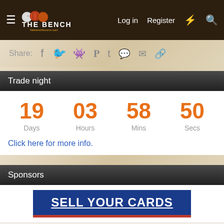THE BENCH — Log in | Register
Share: [facebook] [twitter] [reddit] [pinterest] [tumblr] [whatsapp] [email] [link]
Trade night
19 Days  03 Hours  58 Mins  50 Secs
Click here for more info.
Sponsors
[Figure (other): SELL YOUR CARDS advertisement banner in blue with red border]
This site uses cookies to help personalise content, tailor your experience and to keep you logged in if you register. By continuing to use this site, you are consenting to our use of cookies.
Tally — Fast credit card payoff — Download Now